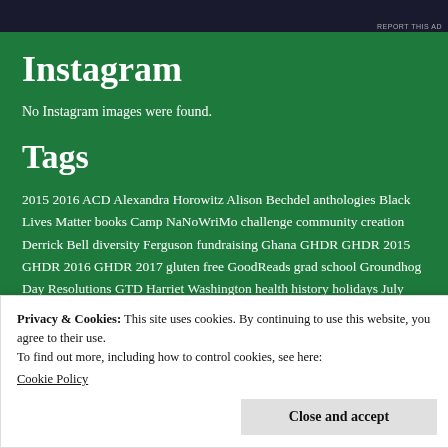[Figure (screenshot): Top banner ad area with dark background and 'REPORT THIS AD' text]
Instagram
No Instagram images were found.
Tags
2015 2016 ACD Alexandra Horowitz Alison Bechdel anthologies Black Lives Matter books Camp NaNoWriMo challenge community creation Derrick Bell diversity Ferguson fundraising Ghana GHDR GHDR 2015 GHDR 2016 GHDR 2017 gluten free GoodReads grad school Groundhog Day Resolutions GTD Harriet Washington health history holidays July 2015 July Read-a-Thon June 2016 June Read-a-Thon me Medical Apartheid meditation mentorship Mike Brown Mourning Glory Publishing my work
Privacy & Cookies: This site uses cookies. By continuing to use this website, you agree to their use.
To find out more, including how to control cookies, see here:
Cookie Policy
Close and accept